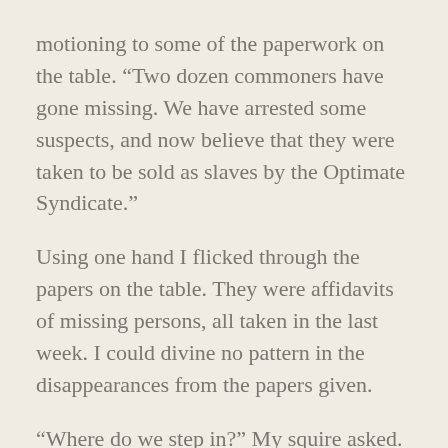motioning to some of the paperwork on the table. “Two dozen commoners have gone missing. We have arrested some suspects, and now believe that they were taken to be sold as slaves by the Optimate Syndicate.”
Using one hand I flicked through the papers on the table. They were affidavits of missing persons, all taken in the last week. I could divine no pattern in the disappearances from the papers given.
“Where do we step in?” My squire asked. “We’re not detectives!”
“I sent several dozen of my town guards to raid one of the Syndicate’s holdouts, and they were butchered to the last man,” the Lord-Constable answered. He then frowned. “They were sucked